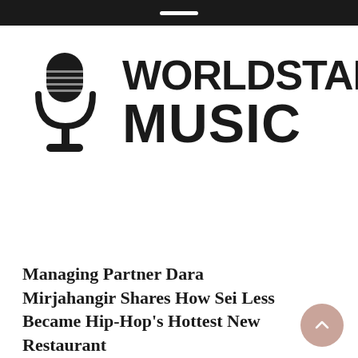[Figure (logo): Worldstar Music logo: a vintage microphone icon on the left and bold text 'WORLDSTAR MUSIC' in two lines on the right]
Managing Partner Dara Mirjahangir Shares How Sei Less Became Hip-Hop's Hottest New Restaurant